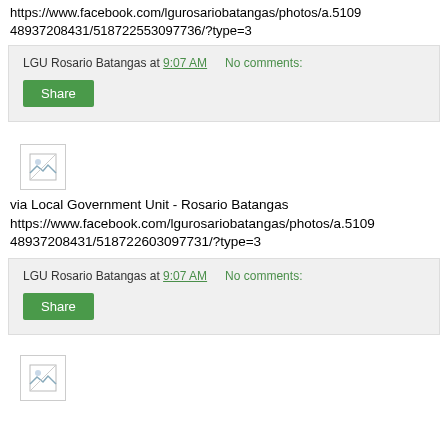https://www.facebook.com/lgurosariobatangas/photos/a.51094 8937208431/518722553097736/?type=3
LGU Rosario Batangas at 9:07 AM   No comments:
Share
[Figure (photo): Small broken image thumbnail icon]
via Local Government Unit - Rosario Batangas https://www.facebook.com/lgurosariobatangas/photos/a.5109 48937208431/518722603097731/?type=3
LGU Rosario Batangas at 9:07 AM   No comments:
Share
[Figure (photo): Small broken image thumbnail icon]